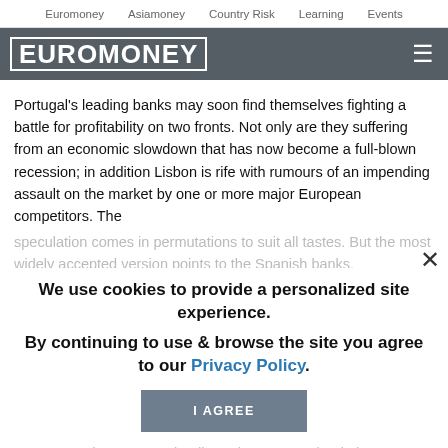Euromoney   Asiamoney   Country Risk   Learning   Events
[Figure (logo): Euromoney logo in white bold text on dark grey background with hamburger menu icon]
Portugal's leading banks may soon find themselves fighting a battle for profitability on two fronts. Not only are they suffering from an economic slowdown that has now become a full-blown recession; in addition Lisbon is rife with rumours of an impending assault on the market by one or more major European competitors. The speculation comes in permutations to suit all tastes. But the most widely accepted version points to the Spanish banks.
We use cookies to provide a personalized site experience.
By continuing to use & browse the site you agree to our Privacy Policy.
From a price perspective this would certainly be the right time to move in on Portuguese banks. For instance, Banco Comercial Portugues, the country's leading private-sector bank, has underperformed the European bank index by 60% since January 1999. As BCP's